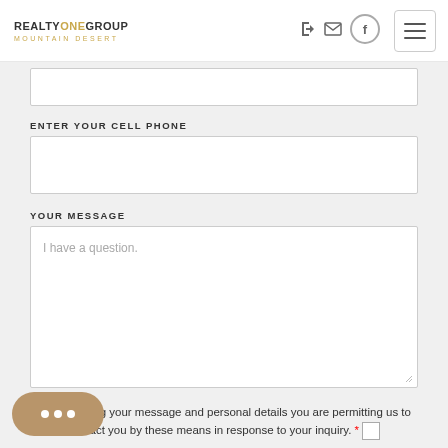REALTY ONE GROUP MOUNTAIN DESERT
ENTER YOUR CELL PHONE
YOUR MESSAGE
I have a question.
By submitting your message and personal details you are permitting us to contact you by these means in response to your inquiry.